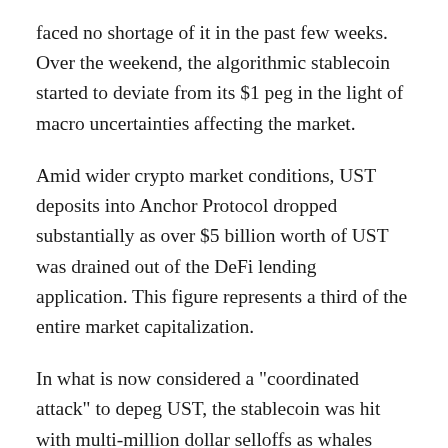faced no shortage of it in the past few weeks. Over the weekend, the algorithmic stablecoin started to deviate from its $1 peg in the light of macro uncertainties affecting the market.
Amid wider crypto market conditions, UST deposits into Anchor Protocol dropped substantially as over $5 billion worth of UST was drained out of the DeFi lending application. This figure represents a third of the entire market capitalization.
In what is now considered a "coordinated attack" to depeg UST, the stablecoin was hit with multi-million dollar selloffs as whales dumped their UST holdings. A single whale dumped $108 million worth of UST on Binance and another $85 million on Curve. UST lost its footing and plunged below $1 over the weekend. The